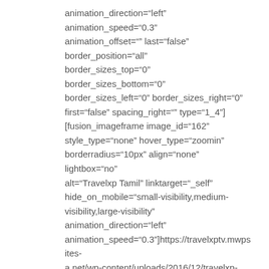animation_direction="left" animation_speed="0.3" animation_offset="" last="false" border_position="all" border_sizes_top="0" border_sizes_bottom="0" border_sizes_left="0" border_sizes_right="0" first="false" spacing_right="" type="1_4"] [fusion_imageframe image_id="162" style_type="none" hover_type="zoomin" borderradius="10px" align="none" lightbox="no" alt="Travelxp Tamil" linktarget="_self" hide_on_mobile="small-visibility,medium-visibility,large-visibility" animation_direction="left" animation_speed="0.3"]https://travelxptv.mwpsites-a.net/wp-content/uploads/2016/12/travelxp-tamil.jpg[/fusion_imageframe] [/fusion_builder_column_inner] [fusion_builder_column_inner type="1_4" layout="1_4" spacing="" center_content="no" hover_type="none" link="https://travelxptv.mwpsites-a.net/travelxp-4k/" min_height=""